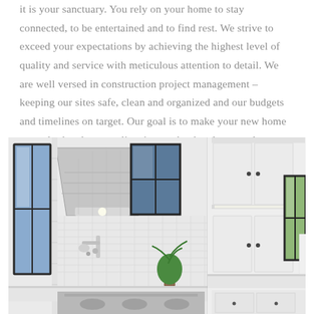it is your sanctuary. You rely on your home to stay connected, to be entertained and to find rest. We strive to exceed your expectations by achieving the highest level of quality and service with meticulous attention to detail. We are well versed in construction project management – keeping our sites safe, clean and organized and our budgets and timelines on target. Our goal is to make your new home not only the place you live, it must be the place you love.
[Figure (photo): Interior photo of a modern white kitchen featuring white shaker cabinets, a stainless steel range hood, white subway tile backsplash, a pot filler faucet, marble countertops, a small green plant, and black-framed windows. The kitchen is bright and airy with an all-white color scheme.]